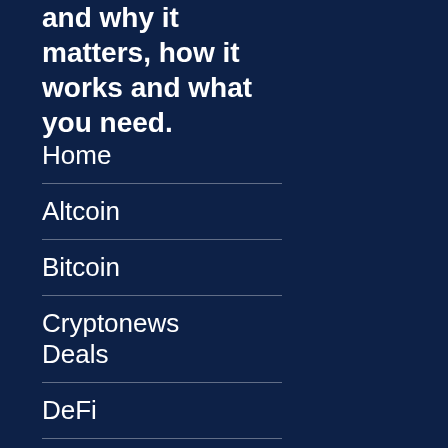and why it matters, how it works and what you need.
Home
Altcoin
Bitcoin
Cryptonews Deals
DeFi
Ethereum